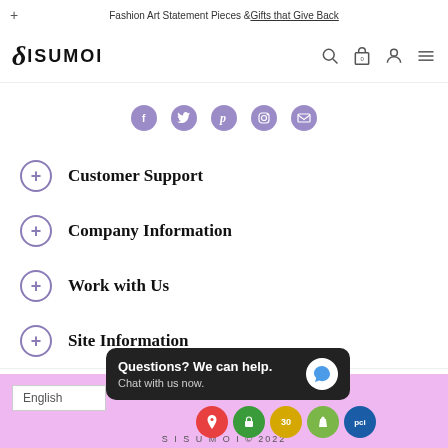Fashion Art Statement Pieces & Gifts that Give Back
[Figure (logo): SISUMOI brand logo with stylized S character]
[Figure (illustration): Social media icons row: Facebook, Twitter, Pinterest, Instagram, Email]
Customer Support
Company Information
Work with Us
Site Information
[Figure (screenshot): Chat popup: Questions? We can help. Chat with us now.]
English | SISUMOI © 2022